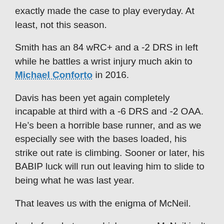exactly made the case to play everyday. At least, not this season.
Smith has an 84 wRC+ and a -2 DRS in left while he battles a wrist injury much akin to Michael Conforto in 2016.
Davis has been yet again completely incapable at third with a -6 DRS and -2 OAA. He’s been a horrible base runner, and as we especially see with the bases loaded, his strike out rate is climbing. Sooner or later, his BABIP luck will run out leaving him to slide to being what he was last year.
That leaves us with the enigma of McNeil.
Look, for whatever which reason, McNeil isn’t hitting. We see that with his career worst 94 wRC+. We also see it with his career worst K%, ISO, AVG, OBP, SLG,